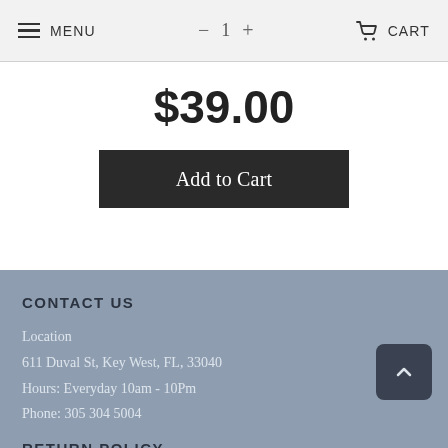MENU   −  1  +   CART
$39.00
Add to Cart
CONTACT US
Location
611 Duval St, Key West, FL, 33040
Hours: Everyday 10am - 10Pm
Phone: 305 304 5004
RETURN POLICY